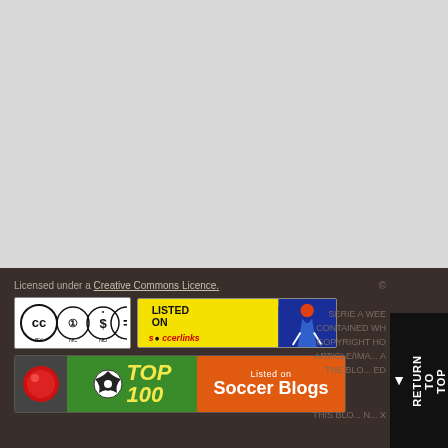[Figure (other): Top gray area, placeholder/blank content region]
Licensed under a Creative Commons Licence.
[Figure (logo): Creative Commons BY NC ND license badge]
[Figure (logo): Listed on Soccerlinks banner badge]
[Figure (logo): Row 2 badges: red circle, Top 100 soccer ball badge, Listed on Soccer Blogs orange badge]
SERIE A WEE... CONTAINED WH... COPYRIGHT HO... ARTICLE/IMA... A... THE BLO... ED...
THIS BLO... N... X...
© RETURN TO TOP